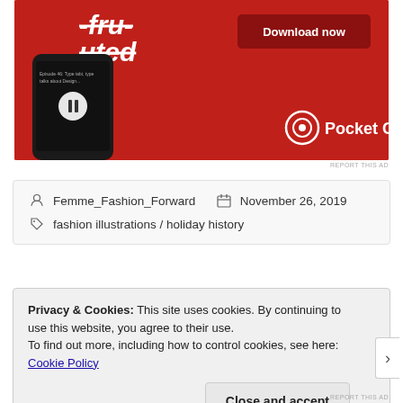[Figure (photo): Advertisement for Pocket Casts app showing a smartphone on a red background with 'Download now' button and Pocket Casts logo]
REPORT THIS AD
Femme_Fashion_Forward   November 26, 2019
fashion illustrations / holiday history
Privacy & Cookies: This site uses cookies. By continuing to use this website, you agree to their use.
To find out more, including how to control cookies, see here: Cookie Policy
Close and accept
REPORT THIS AD